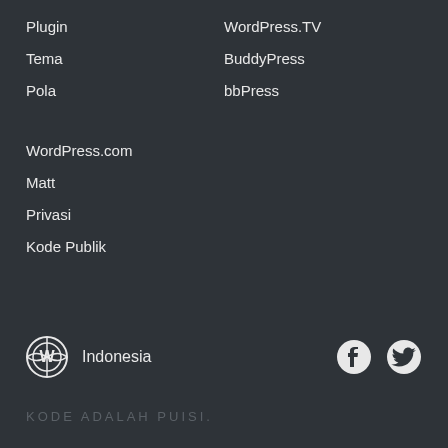Plugin
WordPress.TV
Tema
BuddyPress
Pola
bbPress
WordPress.com
Matt
Privasi
Kode Publik
Indonesia
KODE ADALAH PUISI.